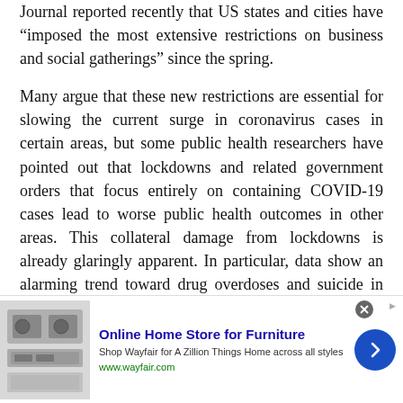Journal reported recently that US states and cities have “imposed the most extensive restrictions on business and social gatherings” since the spring.
Many argue that these new restrictions are essential for slowing the current surge in coronavirus cases in certain areas, but some public health researchers have pointed out that lockdowns and related government orders that focus entirely on containing COVID-19 cases lead to worse public health outcomes in other areas. This collateral damage from lockdowns is already glaringly apparent. In particular, data show an alarming trend toward drug overdoses and suicide in 2020, as people–especially young people who are least at risk from COVID-19–are forcibly cut off from their friends, families, and communities.
The desperation is revealed in startling new
[Figure (screenshot): Advertisement banner for Wayfair Online Home Store for Furniture. Shows kitchen appliance image on left, ad text in center with title 'Online Home Store for Furniture', description 'Shop Wayfair for A Zillion Things Home across all styles', URL 'www.wayfair.com', and a blue circular arrow button on the right.]